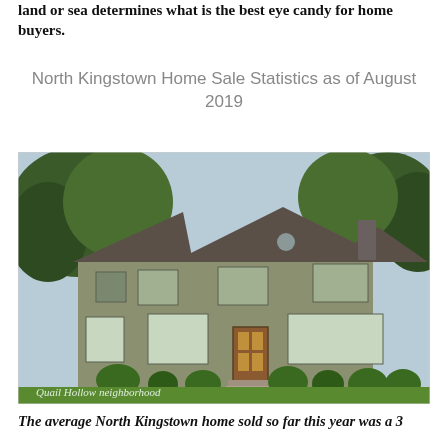land or sea determines what is the best eye candy for home buyers.
North Kingstown Home Sale Statistics as of August 2019
[Figure (photo): A two-story colonial-style house with gray-green siding, brown roof, large front lawn, surrounded by trees. Caption reads 'Quail Hollow neighborhood'.]
The average North Kingstown home sold so far this year was a 3